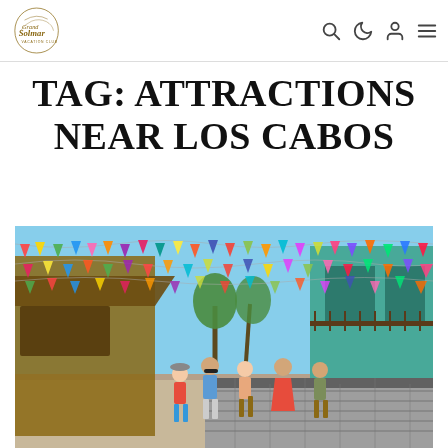Grand Solmar Vacation Club — navigation header with search, dark mode, user, and menu icons
TAG: ATTRACTIONS NEAR LOS CABOS
[Figure (photo): Street scene in a colorful Mexican town (San José del Cabo) with tourists walking down a pedestrian street lined with shops and buildings. Colorful papel picado (decorative paper flags) are strung overhead in many colors. A rustic wooden shop is on the left and a turquoise building on the right. Palm trees and blue sky visible in the background.]